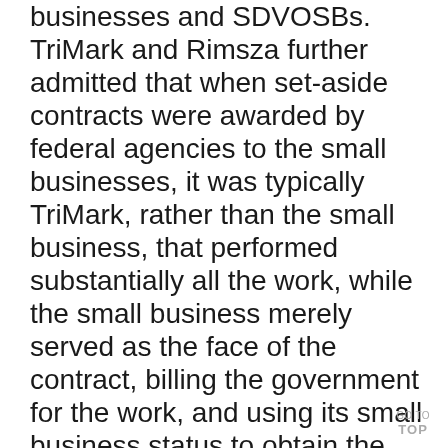businesses and SDVOSBs. TriMark and Rimsza further admitted that when set-aside contracts were awarded by federal agencies to the small businesses, it was typically TriMark, rather than the small business, that performed substantially all the work, while the small business merely served as the face of the contract, billing the government for the work, and using its small business status to obtain the set-aside contracts.
GO TO TOP